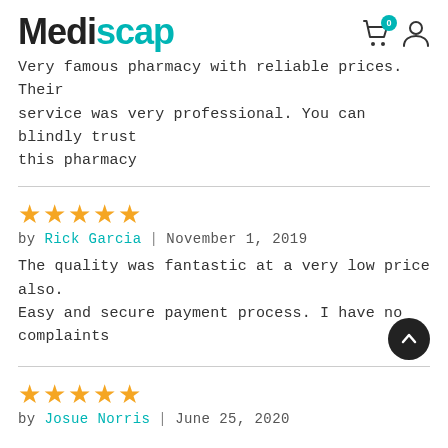Mediscap
Very famous pharmacy with reliable prices. Their service was very professional. You can blindly trust this pharmacy
★★★★★
by Rick Garcia | November 1, 2019
The quality was fantastic at a very low price also. Easy and secure payment process. I have no complaints
★★★★★
by Josue Norris | June 25, 2020